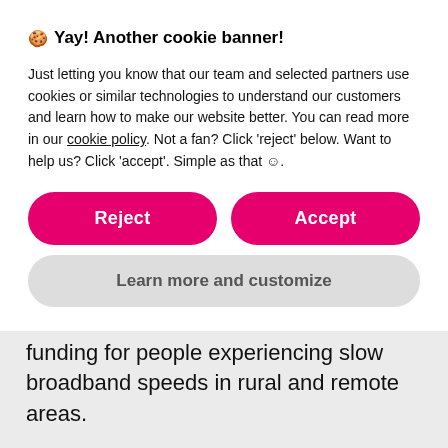🍪 Yay! Another cookie banner!
Just letting you know that our team and selected partners use cookies or similar technologies to understand our customers and learn how to make our website better. You can read more in our cookie policy. Not a fan? Click 'reject' below. Want to help us? Click 'accept'. Simple as that ☺.
Reject
Accept
Learn more and customize
funding for people experiencing slow broadband speeds in rural and remote areas.
Vouchers worth up to £1,500 for residential homes and £3,500 for businesses help cover the cost of a registered service